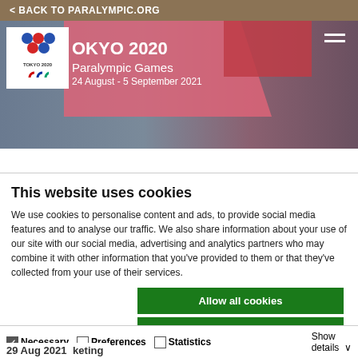< BACK TO PARALYMPIC.ORG
[Figure (screenshot): Tokyo 2020 Paralympic Games banner with logo, pink/red overlay, city background, dates 24 August - 5 September 2021, hamburger menu icon]
This website uses cookies
We use cookies to personalise content and ads, to provide social media features and to analyse our traffic. We also share information about your use of our site with our social media, advertising and analytics partners who may combine it with other information that you've provided to them or that they've collected from your use of their services.
Allow all cookies
Allow selection
Use necessary cookies only
Necessary  Preferences  Statistics  Marketing  Show details
29 Aug 2021